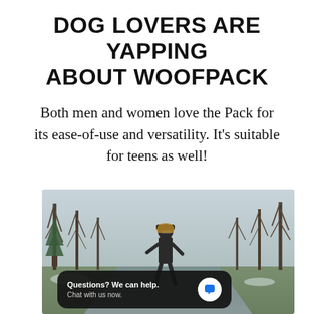DOG LOVERS ARE YAPPING ABOUT WOOFPACK
Both men and women love the Pack for its ease-of-use and versatility. It's suitable for teens as well!
[Figure (photo): A person walking on a road or path outdoors in winter, with bare trees in the background. A chat widget overlay is visible at the bottom of the image reading 'Questions? We can help. Chat with us now.']